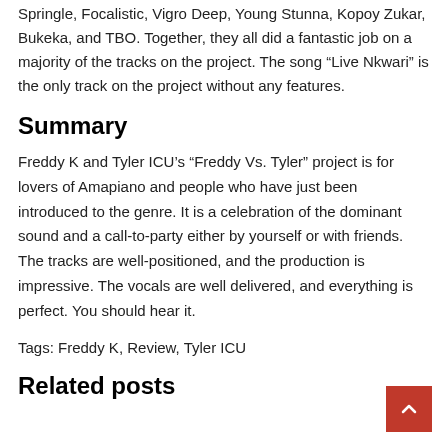Springle, Focalistic, Vigro Deep, Young Stunna, Kopoy Zukar, Bukeka, and TBO. Together, they all did a fantastic job on a majority of the tracks on the project. The song “Live Nkwari” is the only track on the project without any features.
Summary
Freddy K and Tyler ICU’s “Freddy Vs. Tyler” project is for lovers of Amapiano and people who have just been introduced to the genre. It is a celebration of the dominant sound and a call-to-party either by yourself or with friends. The tracks are well-positioned, and the production is impressive. The vocals are well delivered, and everything is perfect. You should hear it.
Tags: Freddy K, Review, Tyler ICU
Related posts